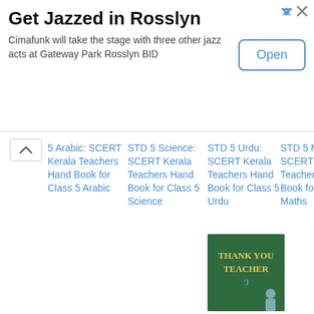[Figure (screenshot): Advertisement banner: Get Jazzed in Rosslyn. Cimafunk will take the stage with three other jazz acts at Gateway Park Rosslyn BID. Open button.]
5 Arabic: SCERT Kerala Teachers Hand Book for Class 5 Arabic
STD 5 Science: SCERT Kerala Teachers Hand Book for Class 5 Science
STD 5 Urdu: SCERT Kerala Teachers Hand Book for Class 5 Urdu
STD 5 Maths: SCERT Kerala Teachers Hand Book for Class 5 Maths
[Figure (photo): Chalkboard image with 'Thank You Teacher' written in yellow chalk, with a student figure visible.]
Teacher Text STD 5 Social Science: SCERT Kerala Teachers Hand Book for Class 5